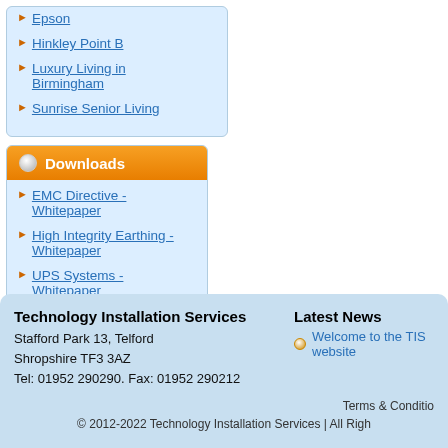Epson
Hinkley Point B
Luxury Living in Birmingham
Sunrise Senior Living
Downloads
EMC Directive - Whitepaper
High Integrity Earthing - Whitepaper
UPS Systems - Whitepaper
Technology Installation Services
Stafford Park 13, Telford
Shropshire TF3 3AZ
Tel: 01952 290290. Fax: 01952 290212
Latest News
Welcome to the TIS website
Terms & Conditions
© 2012-2022 Technology Installation Services | All Rights Reserved